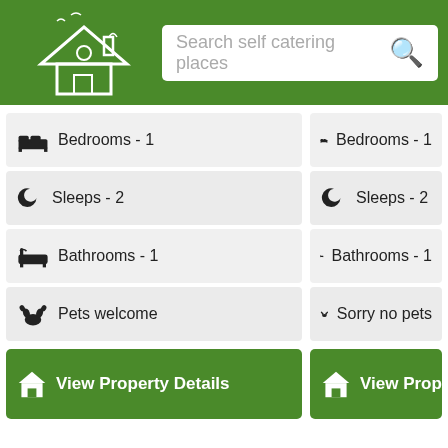[Figure (screenshot): Website header with green background, house logo with 'Est. 2004' text, and a search bar reading 'Search self catering places' with a magnifying glass icon]
Bedrooms - 1
Sleeps - 2
Bathrooms - 1
Pets welcome
View Property Details
Bedrooms - 1
Sleeps - 2
Bathrooms - 1
Sorry no pets
View Propert
Tourist information
North East - Northumberland, Durham & North East coast
North West - The Lake District, Cumbria, Cheshire & North